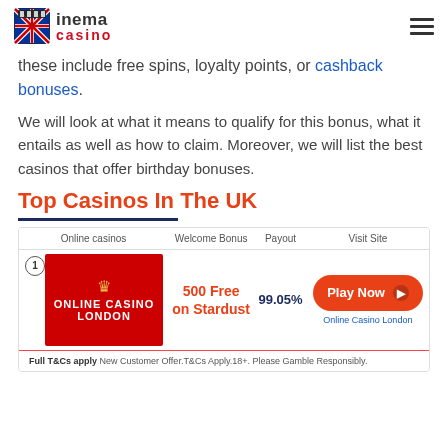Cinema Casino
these include free spins, loyalty points, or cashback bonuses.
We will look at what it means to qualify for this bonus, what it entails as well as how to claim. Moreover, we will list the best casinos that offer birthday bonuses.
Top Casinos In The UK
| Online casinos | Welcome Bonus | Payout | Visit Site |
| --- | --- | --- | --- |
| Online Casino London | 500 Free on Stardust | 99.05% | Play Now |
| Full T&Cs apply | New Customer Offer.T&Cs Apply.18+. Please Gamble Responsibly. |  |  |